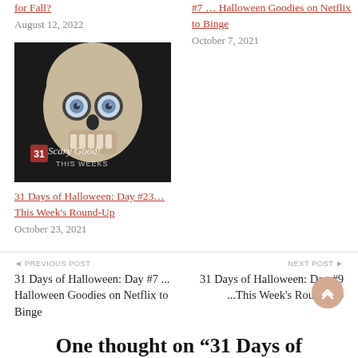for Fall?
August 12, 2022
#7 … Halloween Goodies on Netflix to Binge
October 7, 2021
[Figure (photo): A human skull with blue goggle eyes on a dark background, with cursive text reading 'Scary Good! THIS WEEKS']
31 Days of Halloween: Day #23… This Week's Round-Up
October 23, 2021
◄ PREVIOUS POST
31 Days of Halloween: Day #7 ... Halloween Goodies on Netflix to Binge
NEXT POST ►
31 Days of Halloween: Day #9 ...This Week's Round-Up
One thought on “31 Days of